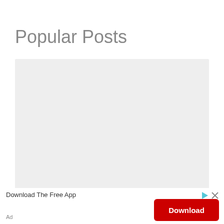Popular Posts
[Figure (other): Large light gray placeholder rectangle for popular posts content]
[Figure (other): Advertisement bar at the bottom with 'Download The Free App' text, a red Download button, play and close icons, and 'Ad' label]